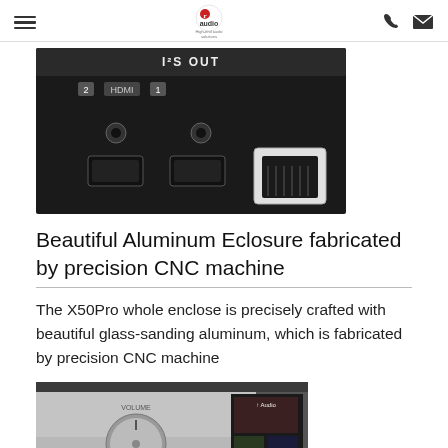r audio — High-end audio solutions
[Figure (photo): Close-up of device back panel showing I2S OUT label, HDMI ports (labeled 2 and 1), two audio jacks, and an ethernet RJ45 port on a black panel]
Beautiful Aluminum Eclosure fabricated by precision CNC machine
The X50Pro whole enclose is precisely crafted with beautiful glass-sanding aluminum, which is fabricated by precision CNC machine
[Figure (photo): Close-up of a silver/aluminum audio device front panel showing a large volume knob and a display screen with album artwork]